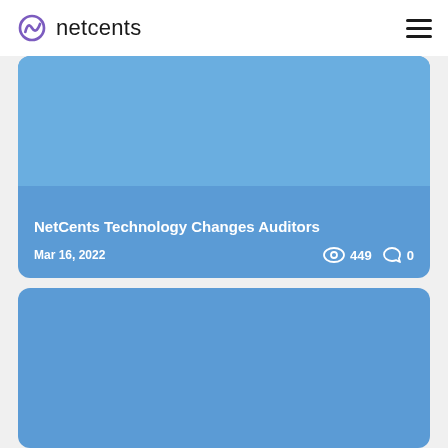netcents
NetCents Technology Changes Auditors
Mar 16, 2022  449  0
[Figure (illustration): Blue card placeholder image area for second article]